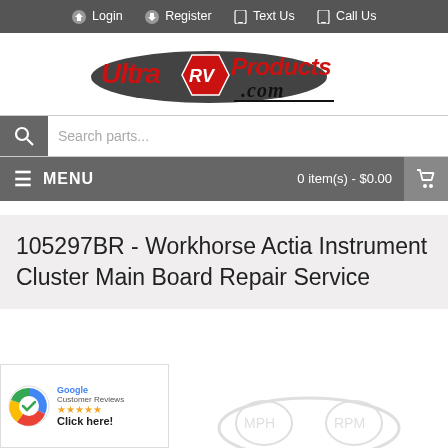Login  Register  Text Us  Call Us
[Figure (logo): Ultra RV Products .com logo — red italic text with RV shield graphic]
Search parts...
MENU   0 item(s) - $0.00
105297BR - Workhorse Actia Instrument Cluster Main Board Repair Service
[Figure (logo): Google Customer Reviews badge — Click here!]
[Figure (illustration): Partial product image visible at bottom right — appears to be an instrument cluster]